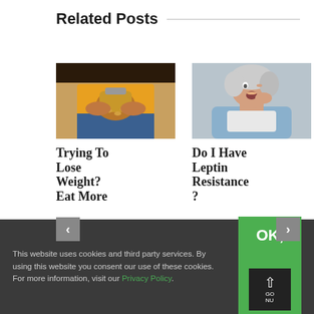Related Posts
[Figure (photo): Person in yellow sweater holding a glass jar with nuts/pills spilling into hands]
[Figure (photo): Older woman with grey hair yawning, hand near mouth, light blue background]
Trying to Lose Weight? Eat More
Do I Have Leptin Resistance?
This website uses cookies and third party services. By using this website you consent our use of these cookies. For more information, visit our Privacy Policy.
OK,